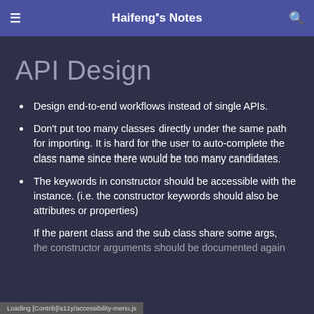Haifeng's Notes
API Design
Design end-to-end workflows instead of single APIs.
Don't put too many classes directly under the same path for importing. It is hard for the user to auto-complete the class name since there would be too many candidates.
The keywords in constructor should be accessible with the instance. (i.e. the constructor keywords should also be attributes or properties)
If the parent class and the sub class share some args, the constructor arguments should be documented again
Loading [Contrib]/a11y/accessibility-menu.js